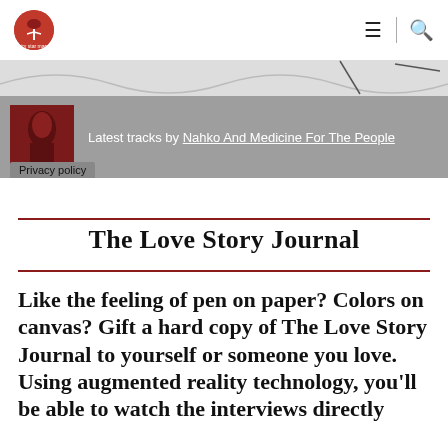Navigation bar with logo, hamburger menu, and search icon
[Figure (screenshot): Music player widget showing album art thumbnail and text: Latest tracks by Nahko And Medicine For The People, with Privacy policy label]
The Love Story Journal
Like the feeling of pen on paper? Colors on canvas? Gift a hard copy of The Love Story Journal to yourself or someone you love. Using augmented reality technology, you'll be able to watch the interviews directly